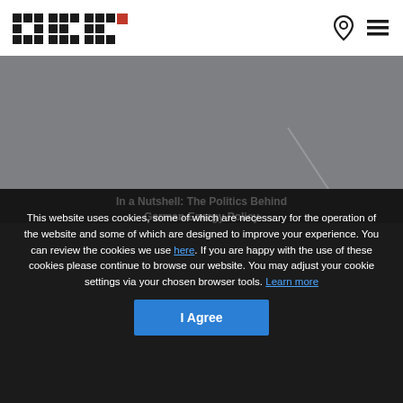[Figure (logo): HKK logo with checkered pattern in black and red]
[Figure (other): Location pin icon and hamburger menu icon in top right]
[Figure (photo): Gray hero image area with faint diagonal line]
In a Nutshell: The Politics Behind German Energy Policy
September 8, 2017
This website uses cookies, some of which are necessary for the operation of the website and some of which are designed to improve your experience. You can review the cookies we use here. If you are happy with the use of these cookies please continue to browse our website. You may adjust your cookie settings via your chosen browser tools. Learn more
I Agree